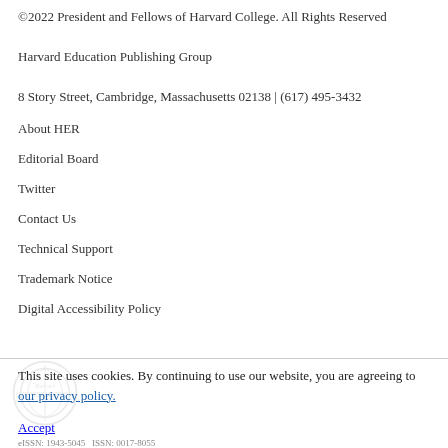©2022 President and Fellows of Harvard College. All Rights Reserved
Harvard Education Publishing Group
8 Story Street, Cambridge, Massachusetts 02138 | (617) 495-3432
About HER
Editorial Board
Twitter
Contact Us
Technical Support
Trademark Notice
Digital Accessibility Policy
This site uses cookies. By continuing to use our website, you are agreeing to our privacy policy.
Accept
eISSN: 1943-5045   ISSN: 0017-8055